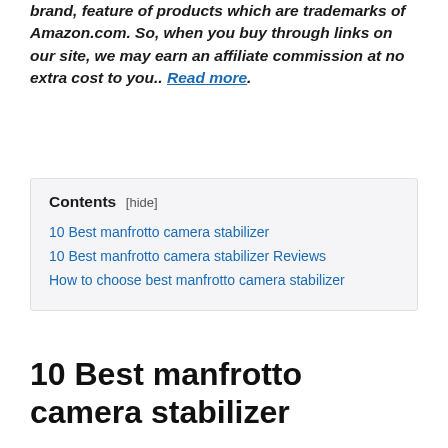brand, feature of products which are trademarks of Amazon.com. So, when you buy through links on our site, we may earn an affiliate commission at no extra cost to you.. Read more.
| Contents [hide] |
| 10 Best manfrotto camera stabilizer |
| 10 Best manfrotto camera stabilizer Reviews |
| How to choose best manfrotto camera stabilizer |
10 Best manfrotto camera stabilizer